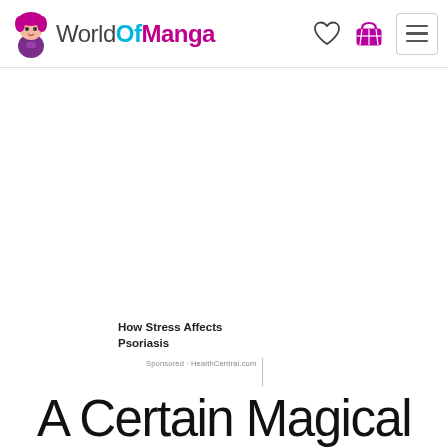WorldOfManga — navigation bar with logo, heart icon, cart icon, hamburger menu
[Figure (screenshot): Large white blank advertisement/content area in the middle of the page]
How Stress Affects Psoriasis
Sponsored · HealthCentral.com
A Certain Magical